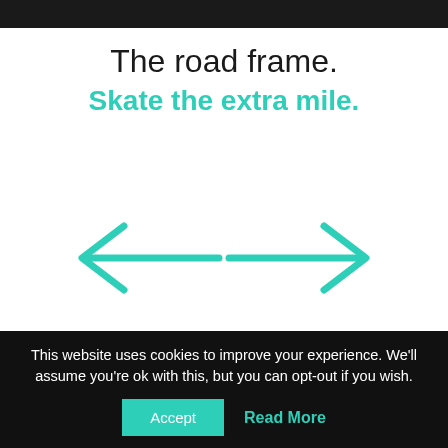[Figure (photo): Dark/black top image strip representing a product photo (partially visible)]
The road frame.
Skate the extra mile.
[Figure (illustration): Two teal/turquoise arrows pointing left and right, indicating direction or width measurement]
12,5" 318mm length.
Ideal for long distance skating.
This website uses cookies to improve your experience. We'll assume you're ok with this, but you can opt-out if you wish.
Accept
Read More